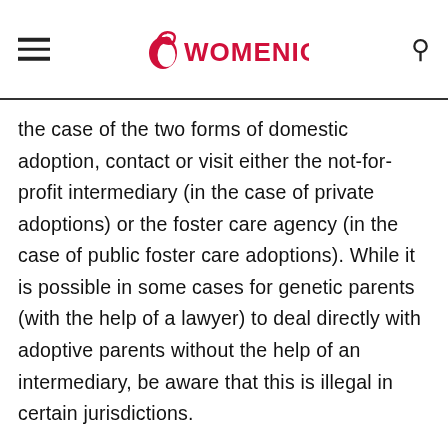WOMENIO
the case of the two forms of domestic adoption, contact or visit either the not-for-profit intermediary (in the case of private adoptions) or the foster care agency (in the case of public foster care adoptions). While it is possible in some cases for genetic parents (with the help of a lawyer) to deal directly with adoptive parents without the help of an intermediary, be aware that this is illegal in certain jurisdictions.